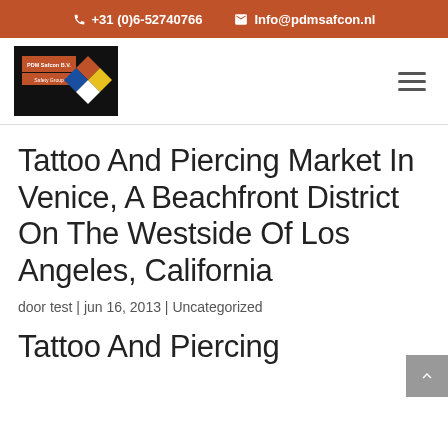+31 (0)6-52740766  Info@pdmsafcon.nl
[Figure (logo): PDM Safcon B.V. Safety Group logo with colored diamond shapes on dark background]
Tattoo And Piercing Market In Venice, A Beachfront District On The Westside Of Los Angeles, California
door test | jun 16, 2013 | Uncategorized
Tattoo And Piercing